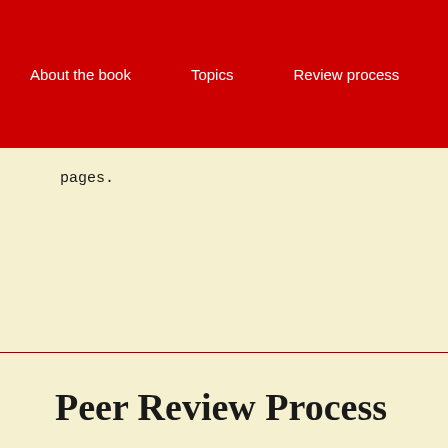About the book   Topics   Review process   Index
pages.
Peer Review Process